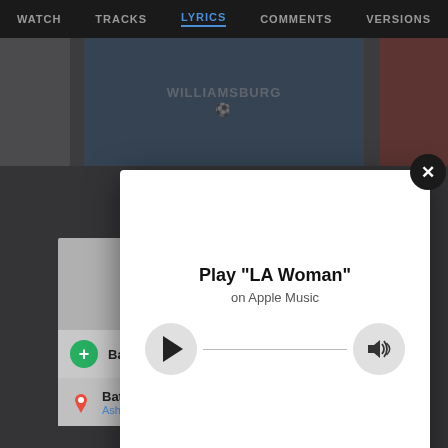WATCH   TRACKS   LYRICS   COMMENTS   VERSIONS
[Figure (screenshot): Partial photo of person wearing a blue Williamsburg t-shirt]
[Figure (screenshot): Modal dialog with play button showing Play LA Woman on Apple Music, with a progress/volume bar, overlaid on a dark background with a Google Maps ad partially visible beneath]
Play "LA Woman"
on Apple Music
Batteries Plus
Batteries Plus Bulbs
Ashburn 10AM–5PM